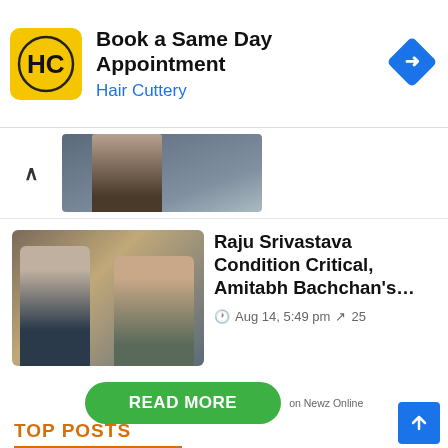[Figure (screenshot): Hair Cuttery advertisement banner with yellow logo, 'Book a Same Day Appointment' heading, 'Hair Cuttery' subtext in blue, and blue diamond navigation icon on the right]
[Figure (photo): Partial thumbnail of a previous article showing a person in dark clothing]
[Figure (photo): Article thumbnail showing two men - one with headphones (Amitabh Bachchan) and one pointing (Raju Srivastava)]
Raju Srivastava Condition Critical, Amitabh Bachchan's…
Aug 14, 5:49 pm  25
READ MORE
on Newz Online
TOP POSTS
[Figure (photo): Bottom partial image showing a dark round object (appears to be a camera or lens) against a warm tan/brown background]